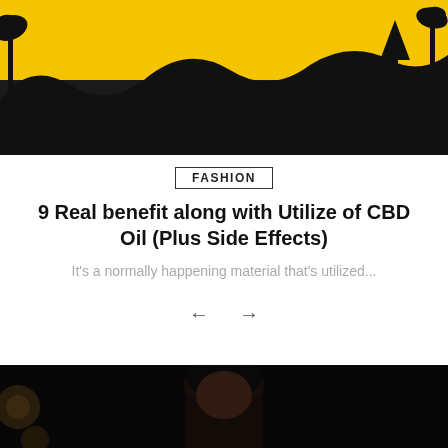[Figure (illustration): Top banner image showing a yellow sunset sky with dark silhouetted landscape, palm trees and terrain visible against a bright yellow/golden background.]
FASHION
9 Real benefit along with Utilize of CBD Oil (Plus Side Effects)
It's a normally happening material that's utilized...
[Figure (photo): Dark portrait photograph of a young woman with dark hair, looking toward the camera with bokeh light circles in the background. Low-key dramatic lighting.]